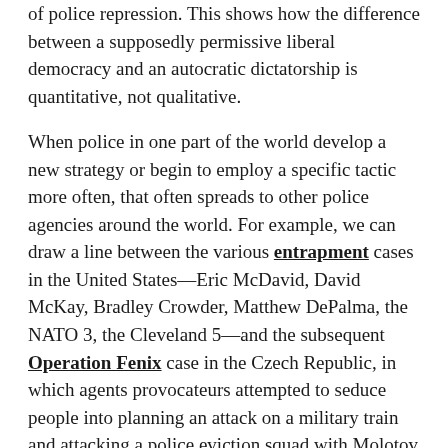of police repression. This shows how the difference between a supposedly permissive liberal democracy and an autocratic dictatorship is quantitative, not qualitative.
When police in one part of the world develop a new strategy or begin to employ a specific tactic more often, that often spreads to other police agencies around the world. For example, we can draw a line between the various entrapment cases in the United States—Eric McDavid, David McKay, Bradley Crowder, Matthew DePalma, the NATO 3, the Cleveland 5—and the subsequent Operation Fenix case in the Czech Republic, in which agents provocateurs attempted to seduce people into planning an attack on a military train and attacking a police eviction squad with Molotov cocktails. In the